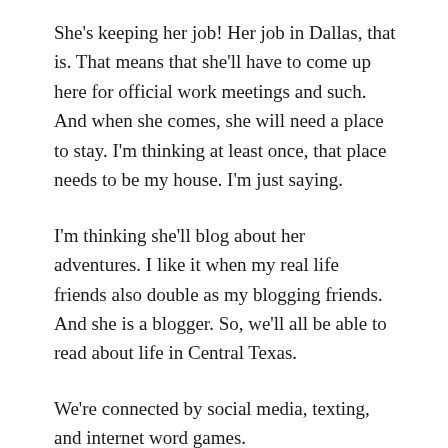She's keeping her job! Her job in Dallas, that is. That means that she'll have to come up here for official work meetings and such. And when she comes, she will need a place to stay. I'm thinking at least once, that place needs to be my house. I'm just saying.
I'm thinking she'll blog about her adventures. I like it when my real life friends also double as my blogging friends. And she is a blogger. So, we'll all be able to read about life in Central Texas.
We're connected by social media, texting, and internet word games.
But I still have that twinge. The little twinge that is going to miss her. The little twinge that hits me in my gut when I have to list an emergency contact on the